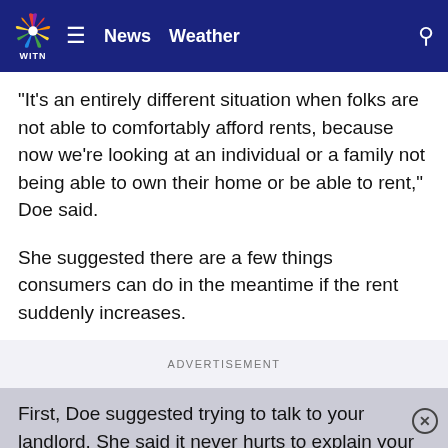WITN News Weather
“It’s an entirely different situation when folks are not able to comfortably afford rents, because now we’re looking at an individual or a family not being able to own their home or be able to rent,” Doe said.
She suggested there are a few things consumers can do in the meantime if the rent suddenly increases.
ADVERTISEMENT
First, Doe suggested trying to talk to your landlord. She said it never hurts to explain your situation and see if they can work with you.